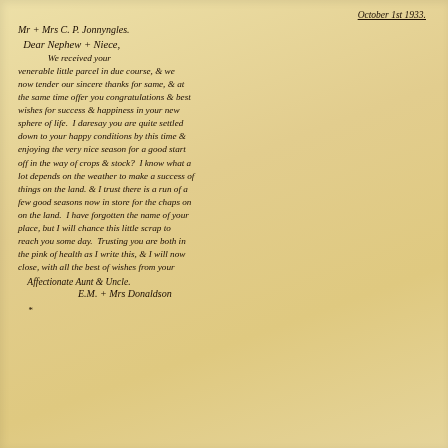October 1st 1933.
Mr + Mrs C. P. Jonnyngles.
Dear Nephew + Niece,
We received your venerable little parcel in due course, & we now tender our sincere thanks for same, & at the same time offer you congratulations & best wishes for success & happiness in your new sphere of life. I daresay you are quite settled down to your happy conditions by this time & enjoying the very nice season for a good start off in the way of crops & stock? I know what a lot depends on the weather to make a success of things on the land. & I trust there is a run of a few good seasons now in store for the chaps on on the land. I have forgotten the name of your place, but I will chance this little scrap to reach you some day. Trusting you are both in the pink of health as I write this, & I will now close, with all the best of wishes from your Affectionate Aunt & Uncle. E.M. + Mrs Donaldson